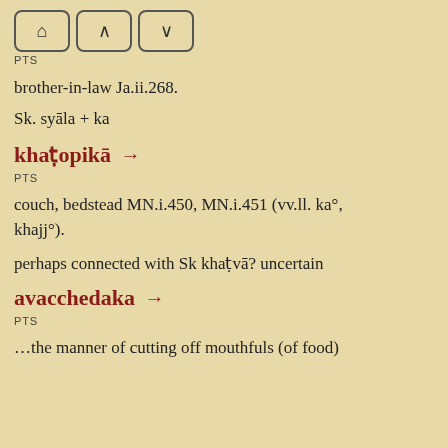[Figure (other): Navigation buttons: home icon, up arrow, down arrow]
PTS
brother-in-law Ja.ii.268.
Sk. syāla + ka
khaṭopikā →
PTS
couch, bedstead MN.i.450, MN.i.451 (vv.ll. ka°, khajj°).
perhaps connected with Sk khaṭvā? uncertain
avacchedaka →
PTS
…the manner of cutting off mouthfuls (of food)